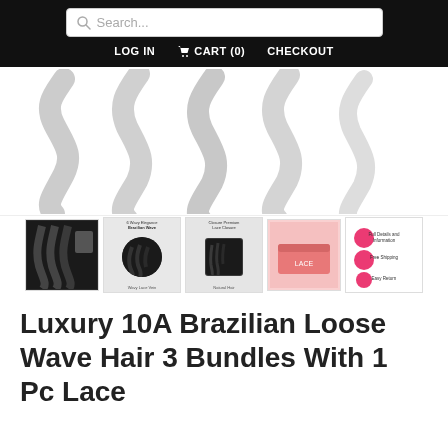Search... LOG IN  CART (0)  CHECKOUT
[Figure (photo): Product main image area showing wavy hair texture pattern in gray/white]
[Figure (photo): Thumbnail strip showing 5 product images: hair bundles with closure, hair texture detail, closure detail, pink product box, product features info graphic]
Luxury 10A Brazilian Loose Wave Hair 3 Bundles With 1 Pc Lace